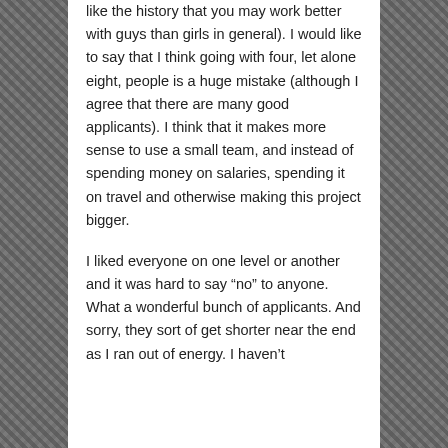like the history that you may work better with guys than girls in general). I would like to say that I think going with four, let alone eight, people is a huge mistake (although I agree that there are many good applicants). I think that it makes more sense to use a small team, and instead of spending money on salaries, spending it on travel and otherwise making this project bigger.
I liked everyone on one level or another and it was hard to say “no” to anyone. What a wonderful bunch of applicants. And sorry, they sort of get shorter near the end as I ran out of energy. I haven’t